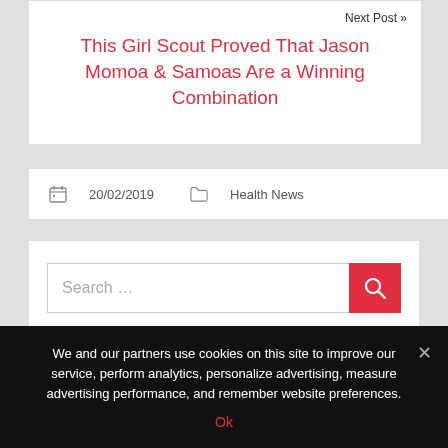Next Post »
This Girl Scout Proved That Jason Momoa & Samoas Are a Winning Combination
20/02/2019   Health News
Search …
CATEGORIES
We and our partners use cookies on this site to improve our service, perform analytics, personalize advertising, measure advertising performance, and remember website preferences.
Ok